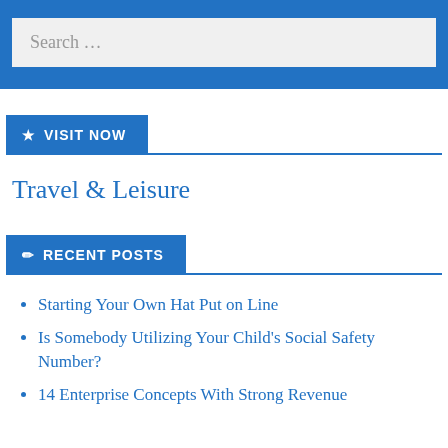Search …
VISIT NOW
Travel & Leisure
RECENT POSTS
Starting Your Own Hat Put on Line
Is Somebody Utilizing Your Child's Social Safety Number?
14 Enterprise Concepts With Strong Revenue